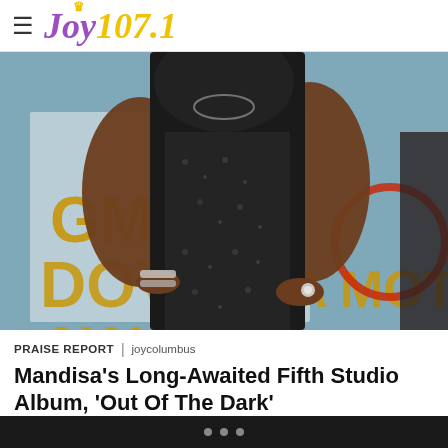≡ Joy 107.1
[Figure (photo): A woman in a black lace dress posing at the GMA Dove Awards event, shown from neck to knees against a GMA Dove Awards step-and-repeat banner backdrop.]
PRAISE REPORT | joycolumbus
Mandisa's Long-Awaited Fifth Studio Album, 'Out Of The Dark'
Grammy Award-winning artist Mandisa's Out Of The Dark is now available for purchase with an instant download of the single...